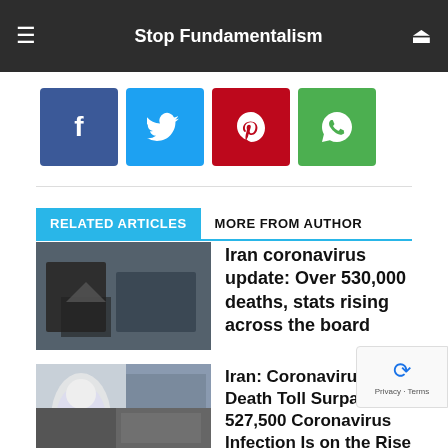Stop Fundamentalism
[Figure (other): Social share buttons: Facebook (blue), Twitter (cyan), Pinterest (red), WhatsApp (green)]
RELATED ARTICLES   MORE FROM AUTHOR
[Figure (photo): Hospital scene with person in protective gloves handling white sheet]
Iran coronavirus update: Over 530,000 deaths, stats rising across the board
[Figure (photo): Person in white hazmat suit in medical setting]
Iran: Coronavirus Death Toll Surpasses 527,500 Coronavirus Infection Is on the Rise Again
[Figure (photo): Partially visible third article thumbnail]